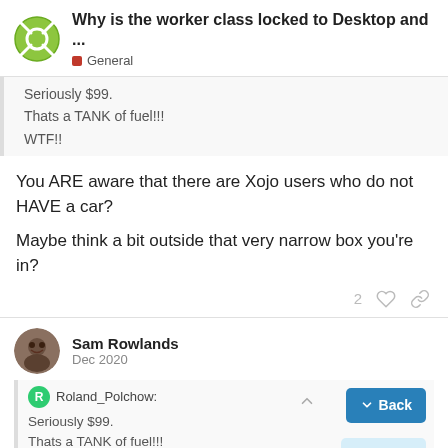Why is the worker class locked to Desktop and ... General
Seriously $99.
Thats a TANK of fuel!!!
WTF!!
You ARE aware that there are Xojo users who do not HAVE a car?
Maybe think a bit outside that very narrow box you’re in?
Sam Rowlands Dec 2020
Roland_Polchow:
Seriously $99.
Thats a TANK of fuel!!!
WTF!!
37 / 44